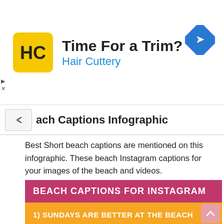[Figure (infographic): Hair Cuttery advertisement banner with logo, title 'Time For a Trim?' and subtitle 'Hair Cuttery', with a navigation/directions icon on the right.]
ach Captions Infographic
Best Short beach captions are mentioned on this infographic. These beach Instagram captions for your images of the beach and videos.
[Figure (infographic): Beach Captions For Instagram infographic with pink header and orange body listing: 1) SUNDAYS ARE BETTER AT THE BEACH, 2) SWIMMING WITH A SHARK, 3) EAT. BEACH. SLEEP. REPEAT, 4) B.E.A.C.H - BEST ESCAPE ANYONE CAN HAVE, 5) I FOLLOWED MY HEART, IT (cut off)]